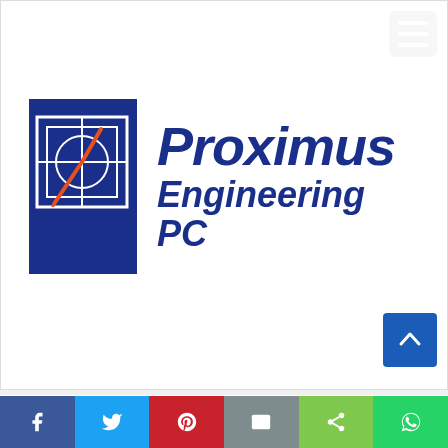[Figure (logo): Proximus Engineering PC logo — blue rectangle with compass/drafting graphic in orange and white, followed by italic bold blue text reading 'Proximus Engineering PC']
Proximus Engineering Ltd